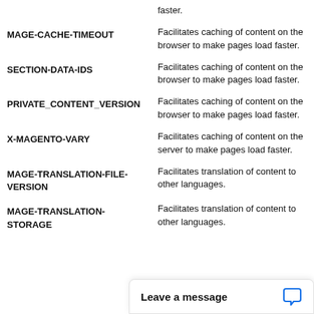| Cookie Name | Description |
| --- | --- |
|  | faster. |
| MAGE-CACHE-TIMEOUT | Facilitates caching of content on the browser to make pages load faster. |
| SECTION-DATA-IDS | Facilitates caching of content on the browser to make pages load faster. |
| PRIVATE_CONTENT_VERSION | Facilitates caching of content on the browser to make pages load faster. |
| X-MAGENTO-VARY | Facilitates caching of content on the server to make pages load faster. |
| MAGE-TRANSLATION-FILE-VERSION | Facilitates translation of content to other languages. |
| MAGE-TRANSLATION-STORAGE | Facilitates translation of content to other languages. |
Leave a message